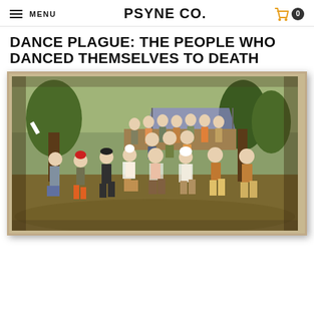MENU | PSYNE CO. | 0
DANCE PLAGUE: THE PEOPLE WHO DANCED THEMSELVES TO DEATH
[Figure (illustration): A Flemish/Renaissance style painting depicting a large group of peasants dancing outdoors, with trees, a covered table with seated onlookers in the background, and energetically dancing figures in colorful clothing (red, orange, yellow, white) in the foreground. The scene evokes a chaotic communal dance event.]